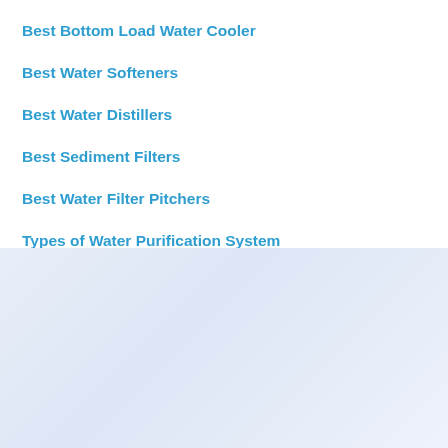Best Bottom Load Water Cooler
Best Water Softeners
Best Water Distillers
Best Sediment Filters
Best Water Filter Pitchers
Types of Water Purification System
[Figure (logo): BrizFeel logo with house icon above the brand name BrizFeel and a dark underline bar below]